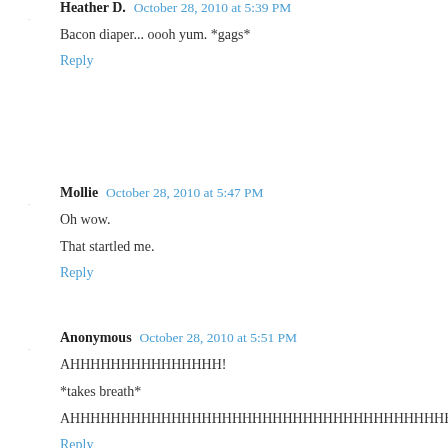Heather D.  October 28, 2010 at 5:39 PM
Bacon diaper... oooh yum. *gags*
Reply
Mollie  October 28, 2010 at 5:47 PM
Oh wow.
That startled me.
Reply
Anonymous  October 28, 2010 at 5:51 PM
AHHHHHHHHHHHHHHH!
*takes breath*
AHHHHHHHHHHHHHHHHHHHHHHHHHHHHHHHHHHHHHH!
Reply